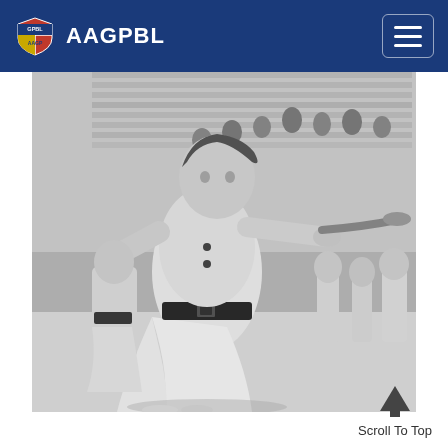AAGPBL
[Figure (photo): Black and white photograph of an AAGPBL (All-American Girls Professional Baseball League) female player mid-swing with a baseball bat, wearing a uniform with a skirt and dark belt. Other players and spectators are visible in the background at a ballpark.]
Scroll To Top